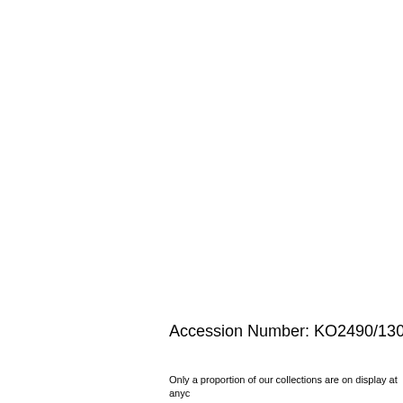Accession Number: KO2490/130
Only a proportion of our collections are on display at anyc of the time, and some of our collections. With the site